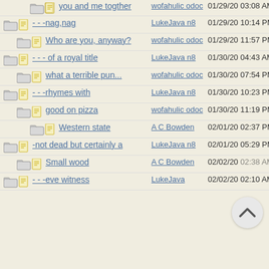you and me togther | wofahulicodoc | 01/29/20 03:08 AM
- - -nag,nag | LukeJavan8 | 01/29/20 10:14 PM
Who are you, anyway? | wofahulicodoc | 01/29/20 11:57 PM
- - - of a royal title | LukeJavan8 | 01/30/20 04:43 AM
what a terrible pun... | wofahulicodoc | 01/30/20 07:54 PM
- - -rhymes with | LukeJavan8 | 01/30/20 10:23 PM
good on pizza | wofahulicodoc | 01/30/20 11:19 PM
Western state | A C Bowden | 02/01/20 02:37 PM
-not dead but certainly a | LukeJavan8 | 02/01/20 05:29 PM
Small wood | A C Bowden | 02/02/20 02:38 AM
- - -eve witness | LukeJava | 02/02/20 02:10 AM